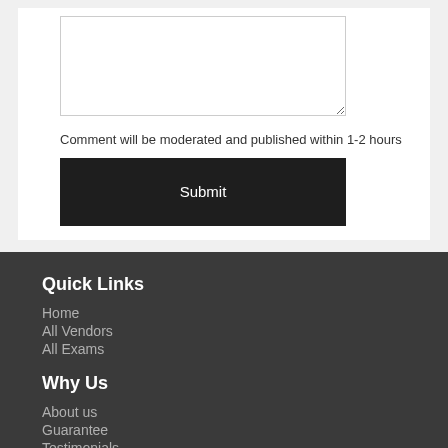Comment will be moderated and published within 1-2 hours
Submit
Quick Links
Home
All Vendors
All Exams
Why Us
About us
Guarantee
Testimonials